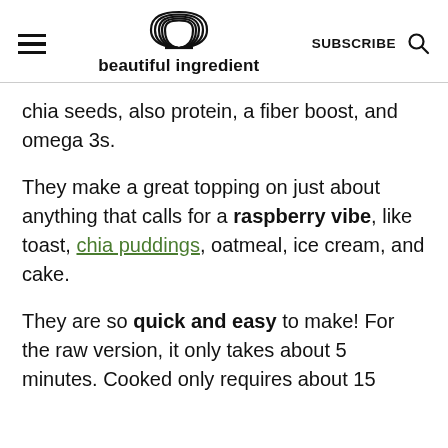beautiful ingredient
chia seeds, also protein, a fiber boost, and omega 3s.
They make a great topping on just about anything that calls for a raspberry vibe, like toast, chia puddings, oatmeal, ice cream, and cake.
They are so quick and easy to make! For the raw version, it only takes about 5 minutes. Cooked only requires about 15